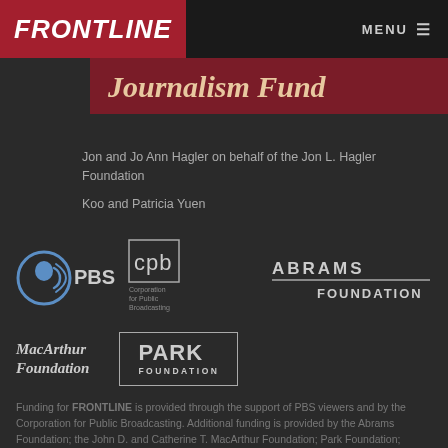FRONTLINE | MENU
Journalism Fund
Jon and Jo Ann Hagler on behalf of the Jon L. Hagler Foundation
Koo and Patricia Yuen
[Figure (logo): PBS logo — circular head with sound waves icon, PBS text]
[Figure (logo): CPB — Corporation for Public Broadcasting logo]
[Figure (logo): Abrams Foundation logo — ABRAMS / FOUNDATION with underline]
[Figure (logo): MacArthur Foundation logo — italic text]
[Figure (logo): Park Foundation logo — PARK / FOUNDATION in a box]
Funding for FRONTLINE is provided through the support of PBS viewers and by the Corporation for Public Broadcasting. Additional funding is provided by the Abrams Foundation; the John D. and Catherine T. MacArthur Foundation; Park Foundation;